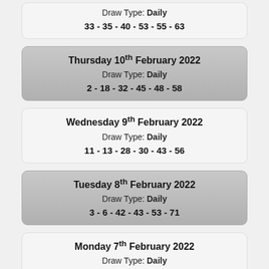Draw Type: Daily
33 - 35 - 40 - 53 - 55 - 63
Thursday 10th February 2022
Draw Type: Daily
2 - 18 - 32 - 45 - 48 - 58
Wednesday 9th February 2022
Draw Type: Daily
11 - 13 - 28 - 30 - 43 - 56
Tuesday 8th February 2022
Draw Type: Daily
3 - 6 - 42 - 43 - 53 - 71
Monday 7th February 2022
Draw Type: Daily